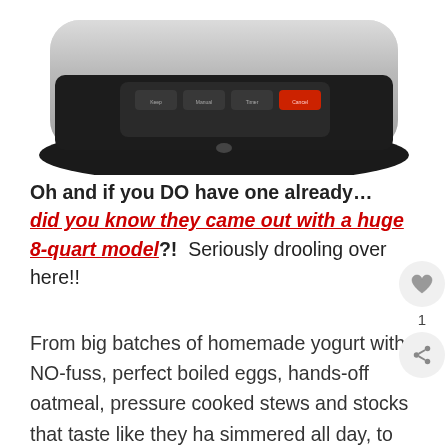[Figure (photo): Top portion of an Instant Pot pressure cooker showing the control panel with buttons, silver/black body, cropped at the bottom]
Oh and if you DO have one already… did you know they came out with a huge 8-quart model?! Seriously drooling over here!!
From big batches of homemade yogurt with NO-fuss, perfect boiled eggs, hands-off oatmeal, pressure cooked stews and stocks that taste like they ha simmered all day, to classic slow-cooked